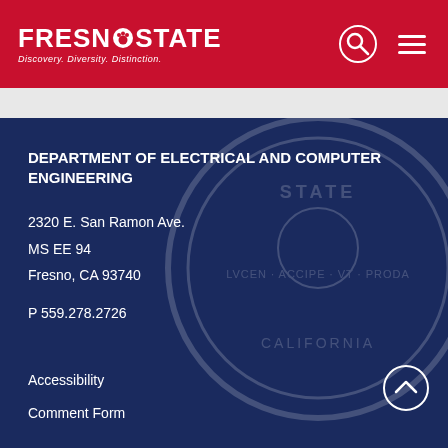[Figure (logo): Fresno State logo with paw print icon and tagline 'Discovery. Diversity. Distinction.' on red background]
DEPARTMENT OF ELECTRICAL AND COMPUTER ENGINEERING
2320 E. San Ramon Ave.
MS EE 94
Fresno, CA 93740
P 559.278.2726
Accessibility
Comment Form